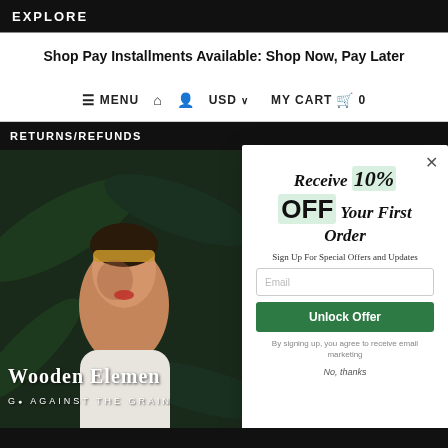EXPLORE
Shop Pay Installments Available: Shop Now, Pay Later
☰ MENU  🏠  👤  USD ∨  MY CART 🛒 0
RETURNS/REFUNDS
[Figure (photo): Fashion photo of a woman with a leopard print headband against dark tropical foliage background, with 'Wooden Elements GO AGAINST THE GRAIN' text overlay]
Receive 10% OFF Your First Order
Sign Up For Special Offers and Updates
Email
Unlock Offer
By signing up, you agree to receive email marketing
No, thanks